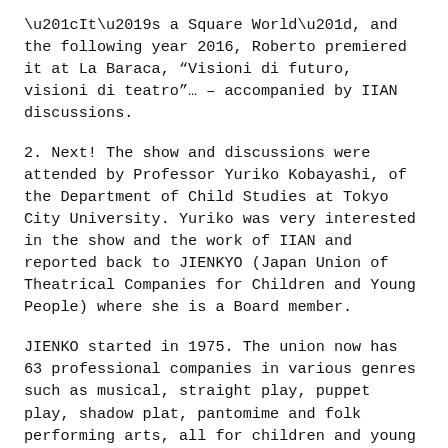“It’s a Square World”, and the following year 2016, Roberto premiered it at La Baraca, “Visioni di futuro, visioni di teatro”… – accompanied by IIAN discussions.
2. Next! The show and discussions were attended by Professor Yuriko Kobayashi, of the Department of Child Studies at Tokyo City University. Yuriko was very interested in the show and the work of IIAN and reported back to JIENKYO (Japan Union of Theatrical Companies for Children and Young People) where she is a Board member.
JIENKO started in 1975. The union now has 63 professional companies in various genres such as musical, straight play, puppet play, shadow plat, pantomime and folk performing arts, all for children and young people.
3. Mr Akira Ota, the person within JIENKO with the responsibility of workshop/ lectures for professionals was particularly interested. He and Yuriko discussed more, and in response, Mr Ota applied for and